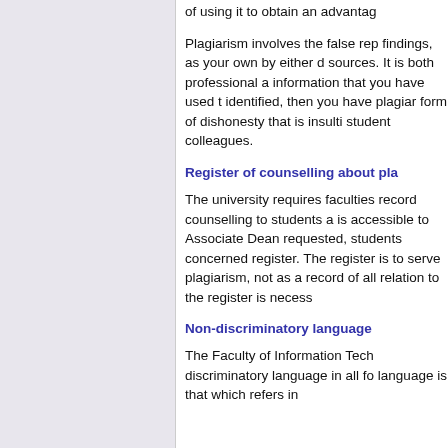of using it to obtain an advantage
Plagiarism involves the false rep findings, as your own by either c sources. It is both professional a information that you have used t identified, then you have plagiar form of dishonesty that is insulti student colleagues.
Register of counselling about pla
The university requires faculties record counselling to students a is accessible to Associate Dean requested, students concerned register. The register is to serve plagiarism, not as a record of all relation to the register is necess
Non-discriminatory language
The Faculty of Information Tech discriminatory language in all fo language is that which refers in